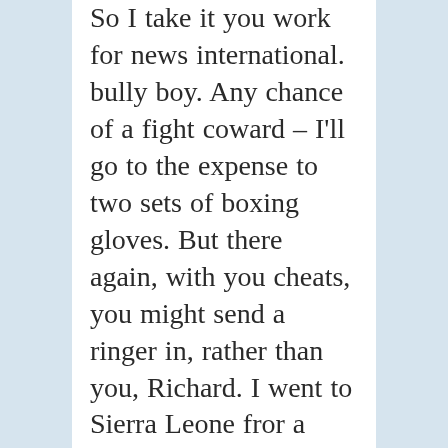So I take it you work for news international. bully boy. Any chance of a fight coward – I'll go to the expense to two sets of boxing gloves. But there again, with you cheats, you might send a ringer in, rather than you, Richard. I went to Sierra Leone fror a holiday Richard, or